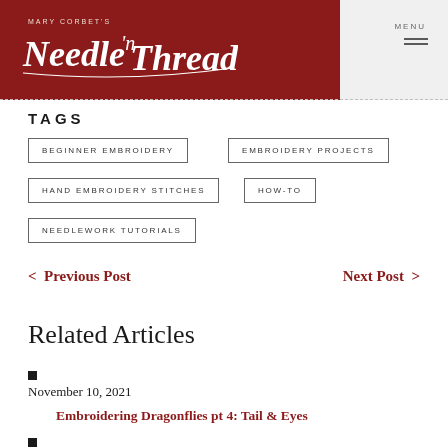Mary Corbet's Needle n Thread — MENU
TAGS
BEGINNER EMBROIDERY
EMBROIDERY PROJECTS
HAND EMBROIDERY STITCHES
HOW-TO
NEEDLEWORK TUTORIALS
< Previous Post    Next Post >
Related Articles
November 10, 2021 — Embroidering Dragonflies pt 4: Tail & Eyes